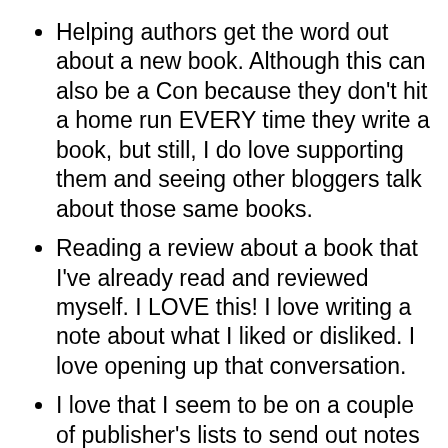Helping authors get the word out about a new book. Although this can also be a Con because they don't hit a home run EVERY time they write a book, but still, I do love supporting them and seeing other bloggers talk about those same books.
Reading a review about a book that I've already read and reviewed myself. I LOVE this! I love writing a note about what I liked or disliked. I love opening up that conversation.
I love that I seem to be on a couple of publisher's lists to send out notes asking me to read a novel because I've read and reviewed a similar novel for them. It makes me feel special.
Reading my fellow bloggers posts. I love